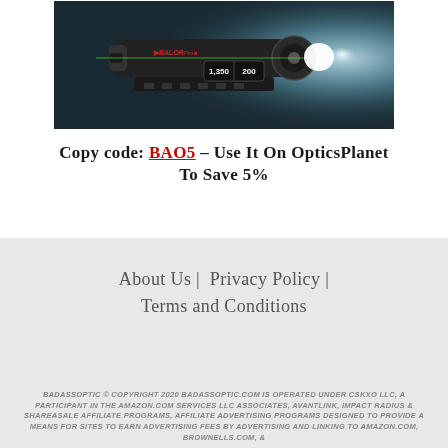[Figure (photo): Product photo of a tactical flashlight/weapon light labeled 'BALOR Pro' mounted on a surface, emitting a bright white beam, with specifications showing 1,350 and 200 on the body. Dark background with teal/blue lighting effect.]
Copy code: BAO5 – Use It On OpticsPlanet To Save 5%
About Us | Privacy Policy | Terms and Conditions
BADASSOPTIC © COPYRIGHT 2020 BADASSOPTIC.COM IS OPERATED UNDER CSKXO LLC, A PARTICIPANT IN THE AMAZON.COM SERVICES LLC ASSOCIATES, AVANTLINK, IMPACT RADIUS & SHAREASALE AFFILIATE PROGRAMS, AFFILIATE ADVERTISING PROGRAMS DESIGNED TO PROVIDE A MEANS FOR SITES TO EARN ADVERTISING FEES BY ADVERTISING AND LINKING TO AMAZON.COM, BROWNELLS.COM, &